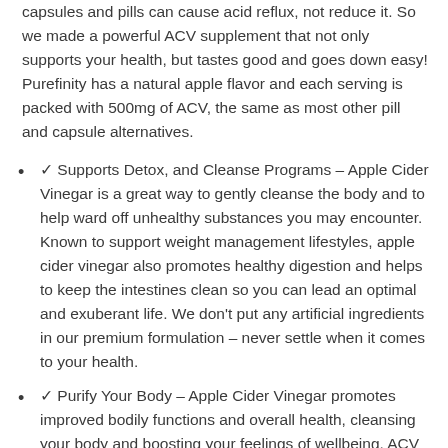capsules and pills can cause acid reflux, not reduce it. So we made a powerful ACV supplement that not only supports your health, but tastes good and goes down easy! Purefinity has a natural apple flavor and each serving is packed with 500mg of ACV, the same as most other pill and capsule alternatives.
✓ Supports Detox, and Cleanse Programs – Apple Cider Vinegar is a great way to gently cleanse the body and to help ward off unhealthy substances you may encounter. Known to support weight management lifestyles, apple cider vinegar also promotes healthy digestion and helps to keep the intestines clean so you can lead an optimal and exuberant life. We don't put any artificial ingredients in our premium formulation – never settle when it comes to your health.
✓ Purify Your Body – Apple Cider Vinegar promotes improved bodily functions and overall health, cleansing your body and boosting your feelings of wellbeing. ACV...